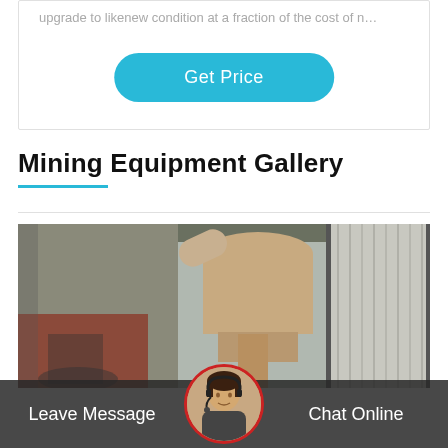upgrade to likenew condition at a fraction of the cost of n…
Get Price
Mining Equipment Gallery
[Figure (photo): Industrial mining equipment inside a warehouse/factory setting, showing large cylindrical pipes, machinery, and suspended plastic or metal sheet dividers along the right side of the space.]
Leave Message
Chat Online